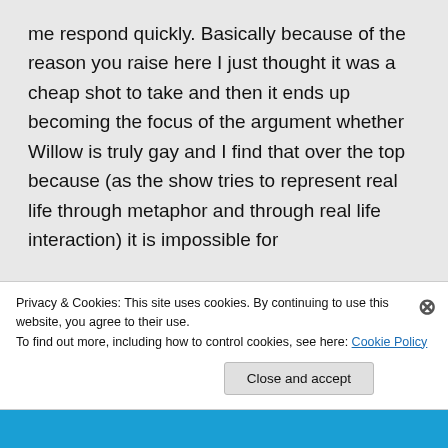me respond quickly. Basically because of the reason you raise here I just thought it was a cheap shot to take and then it ends up becoming the focus of the argument whether Willow is truly gay and I find that over the top because (as the show tries to represent real life through metaphor and through real life interaction) it is impossible for
Privacy & Cookies: This site uses cookies. By continuing to use this website, you agree to their use. To find out more, including how to control cookies, see here: Cookie Policy
Close and accept